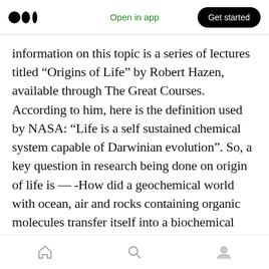Open in app | Get started
information on this topic is a series of lectures titled “Origins of Life” by Robert Hazen, available through The Great Courses. According to him, here is the definition used by NASA: “Life is a self sustained chemical system capable of Darwinian evolution”. So, a key question in research being done on origin of life is — -How did a geochemical world with ocean, air and rocks containing organic molecules transfer itself into a biochemical world containing self-replicating chemical molecules that compete and evolve? At this point no one knows for sure how this
home search profile